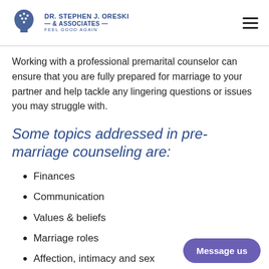DR. STEPHEN J. ORESKI & ASSOCIATES — FEEL GOOD AGAIN
Working with a professional premarital counselor can ensure that you are fully prepared for marriage to your partner and help tackle any lingering questions or issues you may struggle with.
Some topics addressed in pre-marriage counseling are:
Finances
Communication
Values & beliefs
Marriage roles
Affection, intimacy and sex
Children and parenting